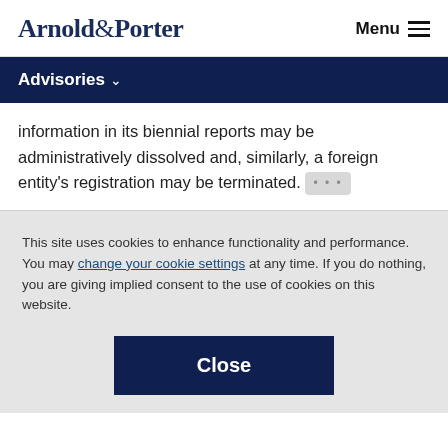Arnold & Porter — Menu
Advisories
information in its biennial reports may be administratively dissolved and, similarly, a foreign entity's registration may be terminated. …
This site uses cookies to enhance functionality and performance. You may change your cookie settings at any time. If you do nothing, you are giving implied consent to the use of cookies on this website.
Close